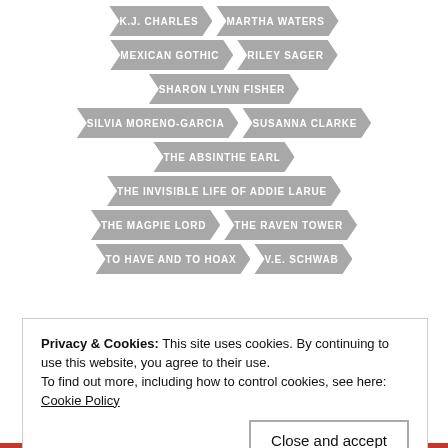K.J. CHARLES
MARTHA WATERS
MEXICAN GOTHIC
RILEY SAGER
SHARON LYNN FISHER
SILVIA MORENO-GARCIA
SUSANNA CLARKE
THE ABSINTHE EARL
THE INVISIBLE LIFE OF ADDIE LARUE
THE MAGPIE LORD
THE RAVEN TOWER
TO HAVE AND TO HOAX
V.E. SCHWAB
Privacy & Cookies: This site uses cookies. By continuing to use this website, you agree to their use.
To find out more, including how to control cookies, see here:
Cookie Policy
Close and accept